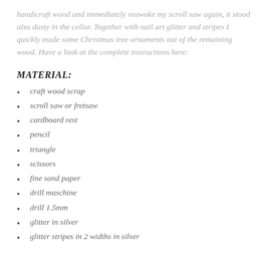handicraft wood and immediately reawoke my scroll saw again, it stood also dusty in the cellar. Together with nail art glitter and stripes I quickly made some Christmas tree ornaments out of the remaining wood. Have a look at the complete instructions here:
MATERIAL:
craft wood scrap
scroll saw or fretsaw
cardboard rest
pencil
triangle
scissors
fine sand paper
drill maschine
drill 1.5mm
glitter in silver
glitter stripes in 2 widths in silver